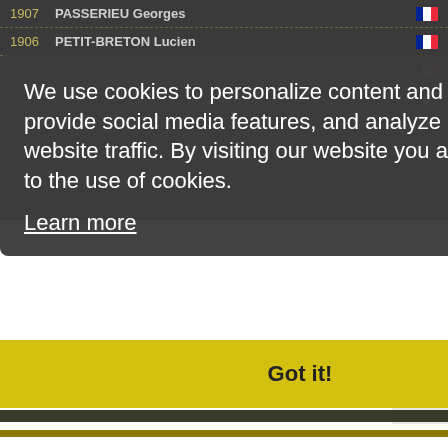1907 PASSERIEU Georges
1906 PETIT-BRETON Lucien
1905 FISCHER Max
1904 P...
We use cookies to personalize content and ads, provide social media features, and analyze our website traffic. By visiting our website you agree to the use of cookies.
Learn more
Got it!
Pro Cycling
Calendar
Results
Startlists
Teams and Riders
News and Media
CyclingFever Weekly
Interviews
Newsfeeds
Videos
Commu
Chat
Forum
Group
Club